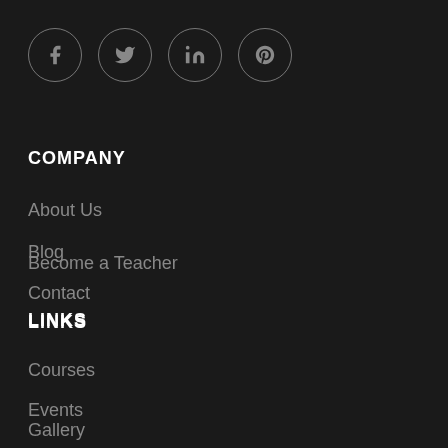[Figure (other): Four social media icon circles in a row: Facebook (f), Twitter (bird), LinkedIn (in), Pinterest (p)]
COMPANY
About Us
Blog
Contact
Become a Teacher
LINKS
Courses
Events
Gallery